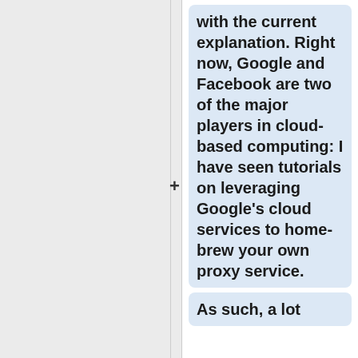with the current explanation. Right now, Google and Facebook are two of the major players in cloud-based computing: I have seen tutorials on leveraging Google's cloud services to home-brew your own proxy service.
As such, a lot